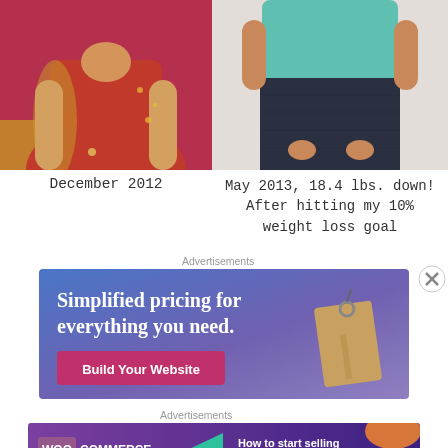[Figure (photo): Before photo of person wearing red sweater, December 2012]
[Figure (photo): After photo of person wearing teal top and dark jeans, May 2013]
December 2012
May 2013, 18.4 lbs. down!
After hitting my 10%
weight loss goal
Advertisements
[Figure (screenshot): Advertisement: Simplified pricing for everything you need. Build Your Website button. Blue/purple gradient background with price tag graphic.]
Advertisements
[Figure (screenshot): WooCommerce advertisement: How to start selling subscriptions online. Purple background with green arrow and orange shapes.]